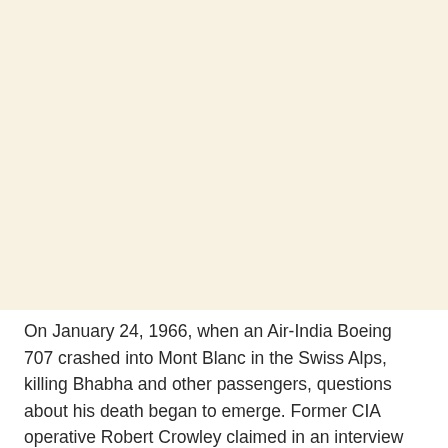[Figure (other): Large blank cream/off-white area occupying the upper portion of the page, likely a photograph or image placeholder.]
On January 24, 1966, when an Air-India Boeing 707 crashed into Mont Blanc in the Swiss Alps, killing Bhabha and other passengers, questions about his death began to emerge. Former CIA operative Robert Crowley claimed in an interview with journalist Gregory Douglas, which later